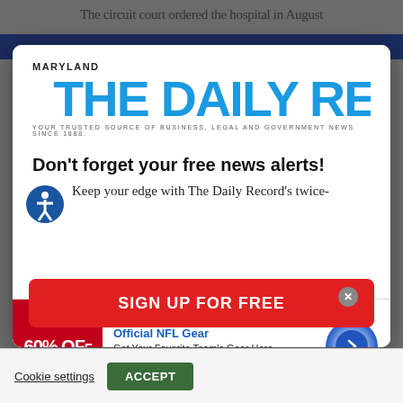The circuit court ordered the hospital in August
[Figure (logo): Maryland The Daily Record logo with tagline: YOUR TRUSTED SOURCE OF BUSINESS, LEGAL AND GOVERNMENT NEWS SINCE 1888.]
Don't forget your free news alerts!
Keep your edge with The Daily Record's twice-
[Figure (infographic): Advertisement banner: Official NFL Gear - Get Your Favorite Team's Gear Here - www.nflshop.com - 60% OFF - with arrow button and close X button]
[Figure (other): Red SIGN UP FOR FREE button]
Cookie settings
ACCEPT